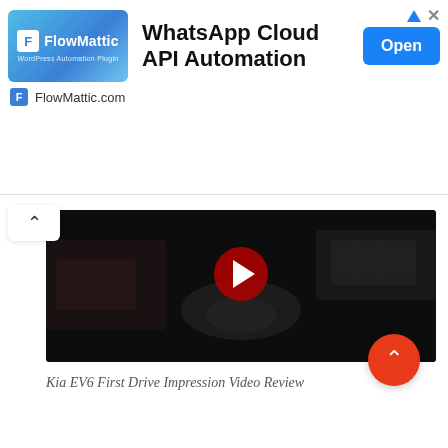[Figure (screenshot): FlowMattic advertisement banner: logo box with blue gradient, headline 'WhatsApp Cloud API Automation', blue Open button, FlowMattic.com URL, ad icons top right]
[Figure (screenshot): Dark video thumbnail showing car interior (Kia EV6), with YouTube-style red play button circle in the center]
Kia EV6 First Drive Impression Video Review